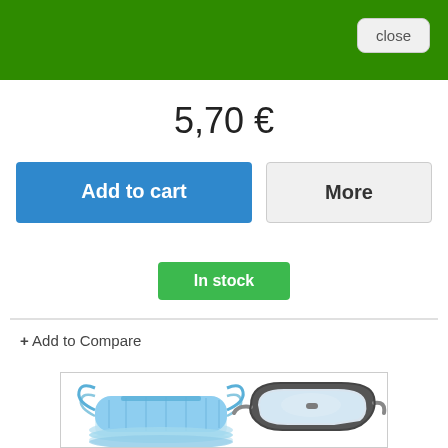close
5,70 €
Add to cart
More
In stock
+ Add to Compare
[Figure (photo): Product image showing a stack of blue surgical face masks on the left and safety goggles/glasses with a clear lens and dark frame on the right, partially visible inside a white bordered box.]